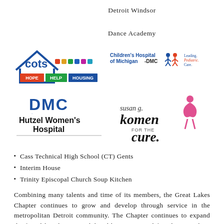Detroit Windsor

Dance Academy
[Figure (logo): COTS Hope Help Housing logo — blue house outline with 'cots' text and colorful icons]
[Figure (logo): Children's Hospital of Michigan - DMC Leading. Pediatric. Care. logo]
[Figure (logo): DMC Hutzel Women's Hospital logo]
[Figure (logo): Susan G. Komen for the Cure logo with pink ribbon figure]
Cass Technical High School (CT) Gents
Interim House
Trinity Episcopal Church Soup Kitchen
Combining many talents and time of its members, the Great Lakes Chapter continues to grow and develop through service in the metropolitan Detroit community. The Chapter continues to expand the friendship that was exhibited by our original founding members and in